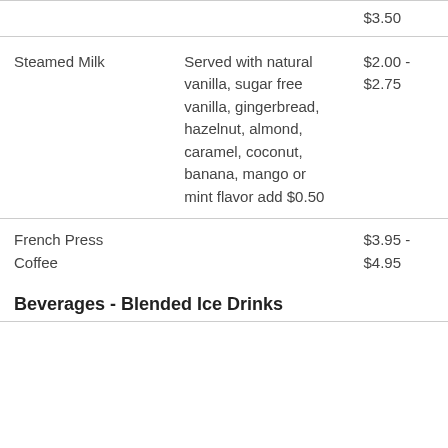| Item | Description | Price |
| --- | --- | --- |
|  |  | $3.50 |
| Steamed Milk | Served with natural vanilla, sugar free vanilla, gingerbread, hazelnut, almond, caramel, coconut, banana, mango or mint flavor add $0.50 | $2.00 - $2.75 |
| French Press Coffee |  | $3.95 - $4.95 |
Beverages - Blended Ice Drinks